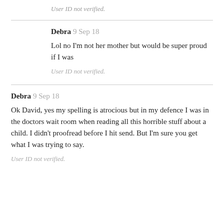User ID not verified.
Debra 9 Sep 18
Lol no I'm not her mother but would be super proud if I was
User ID not verified.
Debra 9 Sep 18
Ok David, yes my spelling is atrocious but in my defence I was in the doctors wait room when reading all this horrible stuff about a child. I didn't proofread before I hit send. But I'm sure you get what I was trying to say.
User ID not verified.